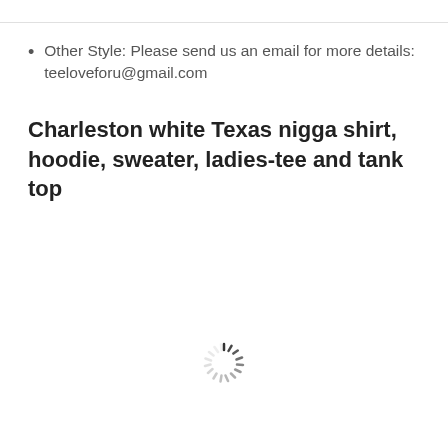Other Style: Please send us an email for more details: teeloveforu@gmail.com
Charleston white Texas nigga shirt, hoodie, sweater, ladies-tee and tank top
[Figure (other): Loading spinner icon (circular dashed spinner indicating content is loading)]